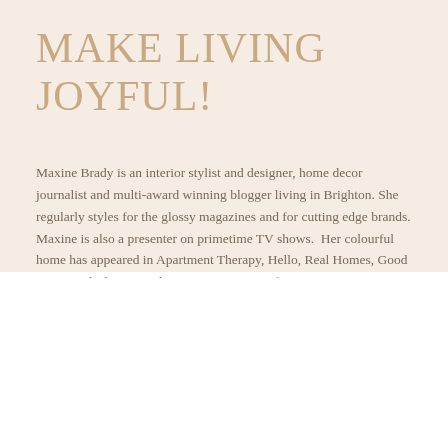MAKE LIVING JOYFUL!
Maxine Brady is an interior stylist and designer, home decor journalist and multi-award winning blogger living in Brighton. She regularly styles for the glossy magazines and for cutting edge brands. Maxine is also a presenter on primetime TV shows.  Her colourful home has appeared in Apartment Therapy, Hello, Real Homes, Good Homes, Ideal Home, The Metro...to name a few.
We use cookies on our website to give you the most relevant experience by remembering your preferences and repeat visits. By clicking “Accept”, you consent to the use of ALL the cookies.
Cookie settings
ACCEPT